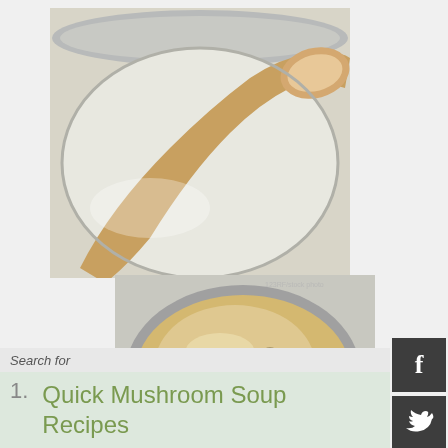[Figure (photo): Close-up of a wooden spoon resting in a large silver/stainless steel pan with thin white liquid (roux or sauce base)]
[Figure (photo): Overhead view of a pot of creamy mushroom soup with visible mushroom pieces]
Search for
1. Quick Mushroom Soup Recipes